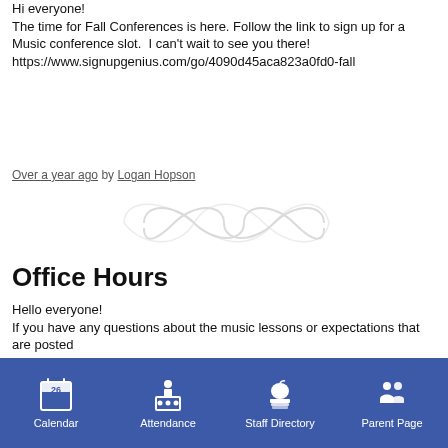Hi everyone!
The time for Fall Conferences is here. Follow the link to sign up for a Music conference slot.  I can't wait to see you there!
https://www.signupgenius.com/go/4090d45aca823a0fd0-fall
Over a year ago by Logan Hopson
[Figure (illustration): Decorative infinity-style swirl ornament divider in light gray]
Office Hours
Hello everyone!
If you have any questions about the music lessons or expectations that are posted
Calendar   Attendance   Staff Directory   Parent Page